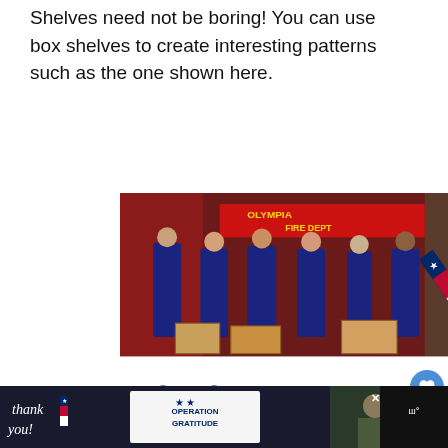Shelves need not be boring! You can use box shelves to create interesting patterns such as the one shown here.
[Figure (photo): Advertisement for Operation Gratitude showing firefighters from Olympia Fire Dept holding items, with cursive 'thank you!' text, a red/white/blue pencil graphic, and 'SHOW THEM YOUR SUPPORT OPERATION GRATITUDE' text below]
[Figure (photo): Bottom banner advertisement for Operation Gratitude with dark background, showing 'thank you!' in script with US flag pencil on left, military personnel in center, and Operation Gratitude logo on right]